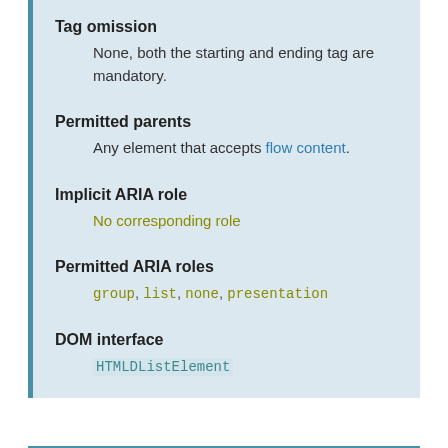Tag omission
None, both the starting and ending tag are mandatory.
Permitted parents
Any element that accepts flow content.
Implicit ARIA role
No corresponding role
Permitted ARIA roles
group, list, none, presentation
DOM interface
HTMLDListElement